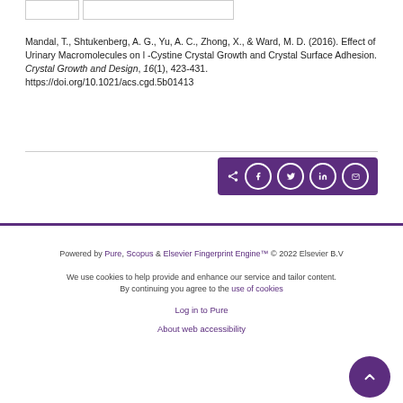Mandal, T., Shtukenberg, A. G., Yu, A. C., Zhong, X., & Ward, M. D. (2016). Effect of Urinary Macromolecules on l -Cystine Crystal Growth and Crystal Surface Adhesion. Crystal Growth and Design, 16(1), 423-431. https://doi.org/10.1021/acs.cgd.5b01413
[Figure (other): Social share bar with icons for share, Facebook, Twitter, LinkedIn, and email on a dark purple background]
Powered by Pure, Scopus & Elsevier Fingerprint Engine™ © 2022 Elsevier B.V

We use cookies to help provide and enhance our service and tailor content. By continuing you agree to the use of cookies

Log in to Pure

About web accessibility